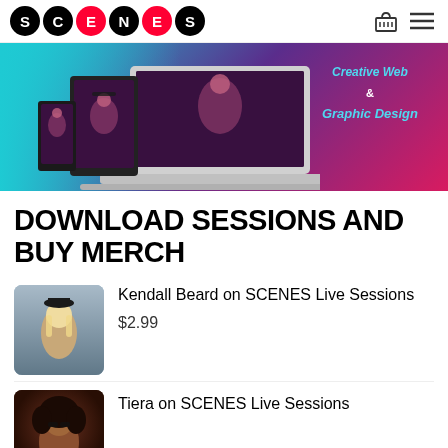SCENES
[Figure (photo): Banner advertisement for Creative Web & Graphic Design showing devices (laptop, tablet, phone) with a stylish musician displayed on screens, on a teal-to-purple-to-pink gradient background.]
DOWNLOAD SESSIONS AND BUY MERCH
[Figure (photo): Thumbnail photo of Kendall Beard, a blonde woman wearing a black hat.]
Kendall Beard on SCENES Live Sessions
$2.99
[Figure (photo): Thumbnail photo of Tiera, a woman with curly dark hair.]
Tiera on SCENES Live Sessions